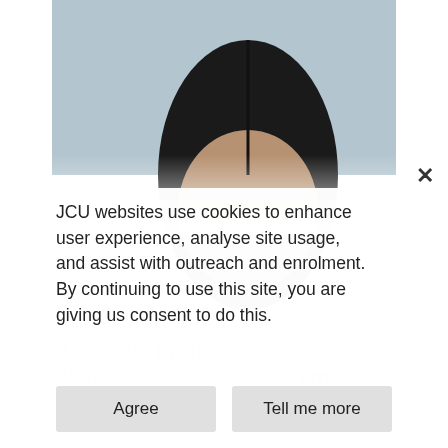[Figure (photo): Partial headshot photo of a person (top of head visible) against a light blue-grey background, partially obscured by a cookie consent modal overlay]
JCU websites use cookies to enhance user experience, analyse site usage, and assist with outreach and enrolment. By continuing to use this site, you are giving us consent to do this.
Agree
Tell me more